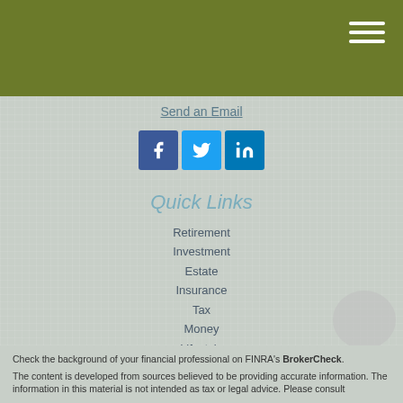Send an Email
[Figure (other): Social media icons: Facebook (blue square with f), Twitter (light blue square with bird icon), LinkedIn (blue square with in)]
Quick Links
Retirement
Investment
Estate
Insurance
Tax
Money
Lifestyle
All Articles
All Videos
All Calculators
All Presentations
Check the background of your financial professional on FINRA's BrokerCheck.
The content is developed from sources believed to be providing accurate information. The information in this material is not intended as tax or legal advice. Please consult